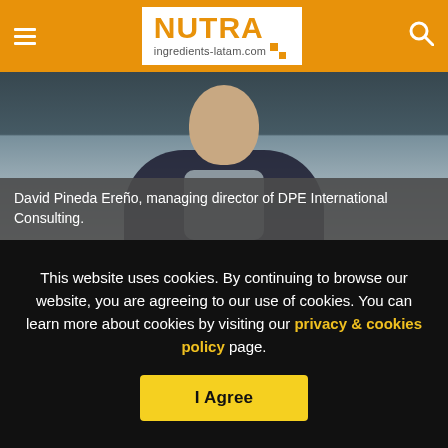NUTRA ingredients-latam.com
[Figure (photo): Person in dark jacket and light shirt, upper body visible, photo used for article illustration.]
David Pineda Ereño, managing director of DPE International Consulting.
Pineda Ereño said within the first two months of the guidelines being implemented in Mexico, more than 60 permits were granted to companies for use of cannabis in foods and supplements. But, he said very few of these were major multinationals.
This website uses cookies. By continuing to browse our website, you are agreeing to our use of cookies. You can learn more about cookies by visiting our privacy & cookies policy page.